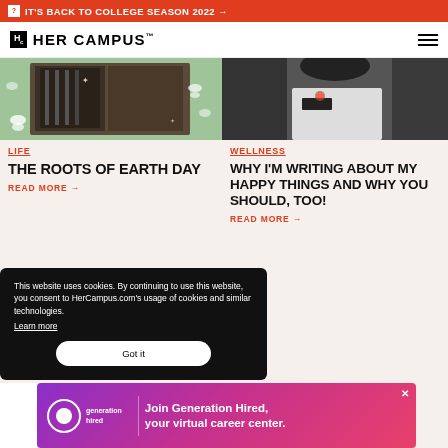IT'S BACK TO COLLEGE SEASON 2022 →
HER CAMPUS
[Figure (photo): Left article image with green butterfly pattern background]
LIFE
THE ROOTS OF EARTH DAY
READ MORE →
[Figure (photo): Right article image showing person in white Fila shirt]
WELLNESS
WHY I'M WRITING ABOUT MY HAPPY THINGS AND WHY YOU SHOULD, TOO!
READ MORE →
This website uses cookies. By continuing to use this website, you consent to HerCampus.com's usage of cookies and similar technologies. Learn more
Got it
[Figure (infographic): Generation Hired advertisement: Join Generation Hired, your virtual career center.]